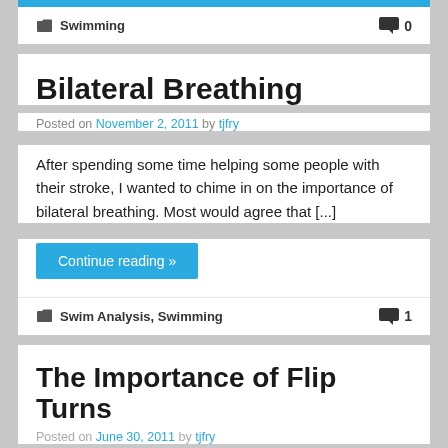Swimming  0
Bilateral Breathing
Posted on November 2, 2011 by tjfry
After spending some time helping some people with their stroke, I wanted to chime in on the importance of bilateral breathing. Most would agree that [...]
Continue reading »
Swim Analysis, Swimming  1
The Importance of Flip Turns
Posted on June 30, 2011 by tjfry